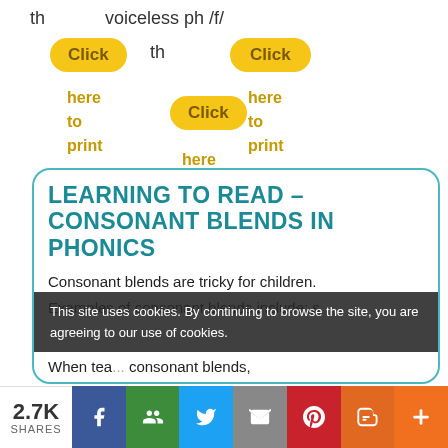th    voiceless ph /f/
[Figure (screenshot): Three yellow pill-shaped 'Click here to print' buttons arranged in a staggered layout]
LEARNING TO READ – CONSONANT BLENDS IN PHONICS
Consonant blends are tricky for children.
Examples of consonant blends include: s
This site uses cookies. By continuing to browse the site, you are agreeing to our use of cookies.
When tea... consonant blends,
2.7K SHARES  [Facebook] [Google+] [Twitter] [Email] [Pinterest] [Blogger] [More]